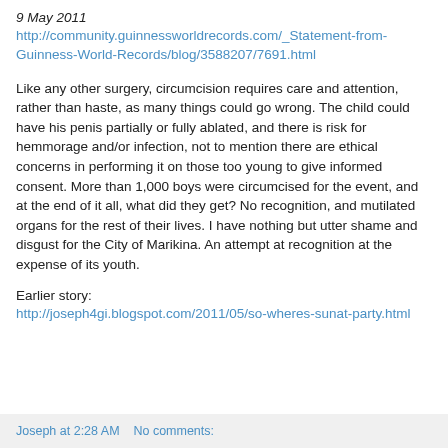9 May 2011
http://community.guinnessworldrecords.com/_Statement-from-Guinness-World-Records/blog/3588207/7691.html
Like any other surgery, circumcision requires care and attention, rather than haste, as many things could go wrong. The child could have his penis partially or fully ablated, and there is risk for hemmorage and/or infection, not to mention there are ethical concerns in performing it on those too young to give informed consent. More than 1,000 boys were circumcised for the event, and at the end of it all, what did they get? No recognition, and mutilated organs for the rest of their lives. I have nothing but utter shame and disgust for the City of Marikina. An attempt at recognition at the expense of its youth.
Earlier story:
http://joseph4gi.blogspot.com/2011/05/so-wheres-sunat-party.html
Joseph at 2:28 AM    No comments: